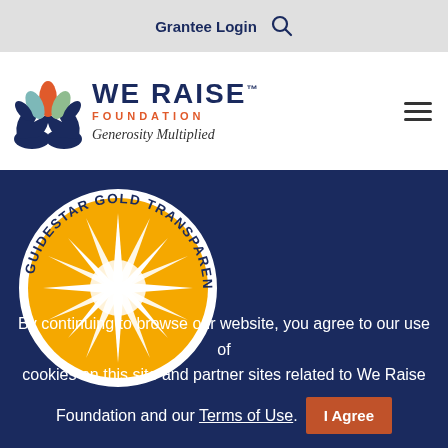Grantee Login
[Figure (logo): We Raise Foundation logo with hands holding a lotus flower, text 'WE RAISE FOUNDATION Generosity Multiplied']
[Figure (logo): GuideStar Gold Transparency badge - circular gold badge with star burst]
By continuing to browse our website, you agree to our use of cookies on this site and partner sites related to We Raise Foundation and our Terms of Use.
I Agree